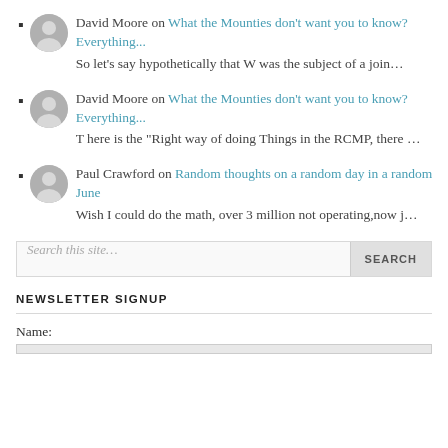David Moore on What the Mounties don't want you to know? Everything...
So let's say hypothetically that W was the subject of a join...
David Moore on What the Mounties don't want you to know? Everything...
There is the "Right way of doing Things in the RCMP, there ...
Paul Crawford on Random thoughts on a random day in a random June
Wish I could do the math, over 3 million not operating,now j...
Search this site...
NEWSLETTER SIGNUP
Name: